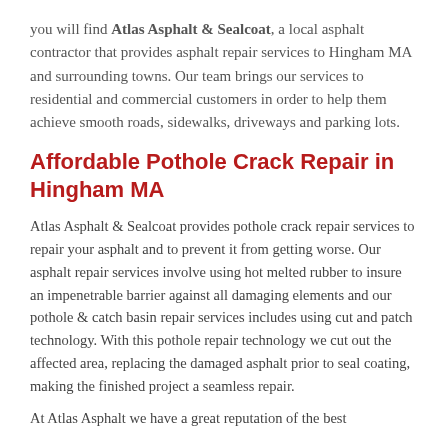you will find Atlas Asphalt & Sealcoat, a local asphalt contractor that provides asphalt repair services to Hingham MA and surrounding towns. Our team brings our services to residential and commercial customers in order to help them achieve smooth roads, sidewalks, driveways and parking lots.
Affordable Pothole Crack Repair in Hingham MA
Atlas Asphalt & Sealcoat provides pothole crack repair services to repair your asphalt and to prevent it from getting worse. Our asphalt repair services involve using hot melted rubber to insure an impenetrable barrier against all damaging elements and our pothole & catch basin repair services includes using cut and patch technology. With this pothole repair technology we cut out the affected area, replacing the damaged asphalt prior to seal coating, making the finished project a seamless repair.
At Atlas Asphalt we have a great reputation of the best...